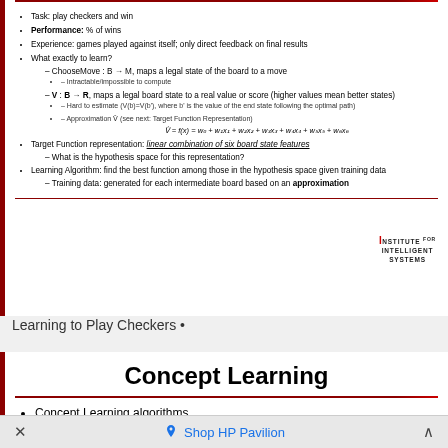Task: play checkers and win
Performance: % of wins
Experience: games played against itself; only direct feedback on final results
What exactly to learn?
ChooseMove : B → M, maps a legal state of the board to a move
Intractable/impossible to compute
V : B → R, maps a legal board state to a real value or score (higher values mean better states)
Hard to estimate (V(b)=V(b'), where b' is the value of the end state following the optimal path)
Approximation V̂ (see next: Target Function Representation)
Target Function representation: linear combination of six board state features
What is the hypothesis space for this representation?
Learning Algorithm: find the best function among those in the hypothesis space given training data
Training data: generated for each intermediate board based on an approximation
Learning to Play Checkers •
Concept Learning
Concept Learning algorithms